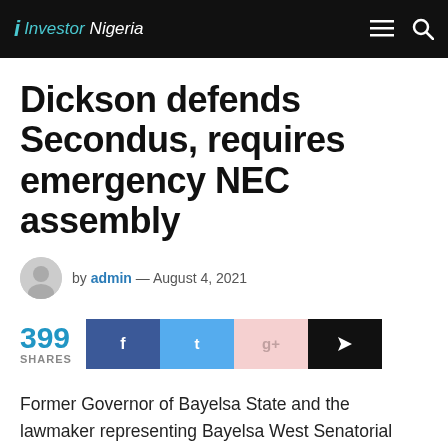Investor Nigeria
Dickson defends Secondus, requires emergency NEC assembly
by admin — August 4, 2021
399 SHARES
Former Governor of Bayelsa State and the lawmaker representing Bayelsa West Senatorial District, Seriake